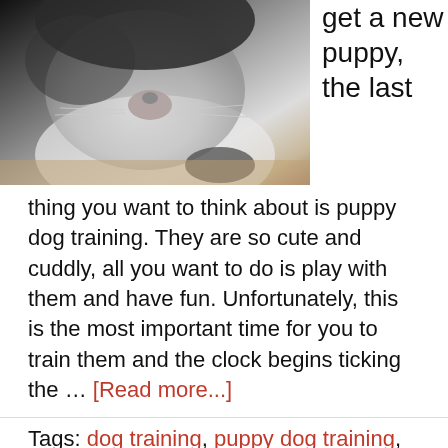[Figure (photo): Close-up photo of a black and white cat lying down, showing its face and paws from above]
get a new puppy, the last thing you want to think about is puppy dog training. They are so cute and cuddly, all you want to do is play with them and have fun. Unfortunately, this is the most important time for you to train them and the clock begins ticking the … [Read more...]
Tags: dog training, puppy dog training, training your puppy